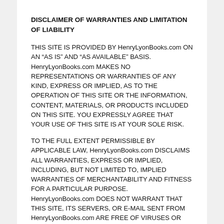DISCLAIMER OF WARRANTIES AND LIMITATION OF LIABILITY
THIS SITE IS PROVIDED BY HenryLyonBooks.com ON AN “AS IS” AND “AS AVAILABLE” BASIS. HenryLyonBooks.com MAKES NO REPRESENTATIONS OR WARRANTIES OF ANY KIND, EXPRESS OR IMPLIED, AS TO THE OPERATION OF THIS SITE OR THE INFORMATION, CONTENT, MATERIALS, OR PRODUCTS INCLUDED ON THIS SITE. YOU EXPRESSLY AGREE THAT YOUR USE OF THIS SITE IS AT YOUR SOLE RISK.
TO THE FULL EXTENT PERMISSIBLE BY APPLICABLE LAW, HenryLyonBooks.com DISCLAIMS ALL WARRANTIES, EXPRESS OR IMPLIED, INCLUDING, BUT NOT LIMITED TO, IMPLIED WARRANTIES OF MERCHANTABILITY AND FITNESS FOR A PARTICULAR PURPOSE. HenryLyonBooks.com DOES NOT WARRANT THAT THIS SITE, ITS SERVERS, OR E-MAIL SENT FROM HenryLyonBooks.com ARE FREE OF VIRUSES OR OTHER HARMFUL COMPONENTS. HenryLyonBooks.com WILL NOT BE LIABLE FOR ANY DAMAGES OF ANY KIND ARISING